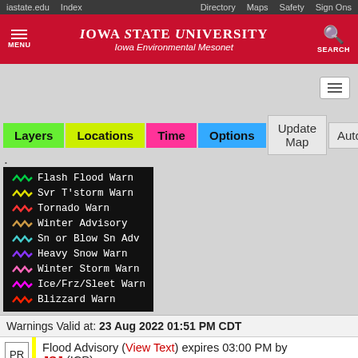iastate.edu  Index  Directory  Maps  Safety  Sign Ons
IOWA STATE UNIVERSITY
Iowa Environmental Mesonet
[Figure (screenshot): Navigation buttons: Layers (green), Locations (yellow-green), Time (pink), Options (blue), Update Map (gray), Auto (gray, clipped)]
[Figure (infographic): Weather warning legend on black background: Flash Flood Warn (green squiggle), Svr T'storm Warn (yellow squiggle), Tornado Warn (red squiggle), Winter Advisory (tan squiggle), Sn or Blow Sn Adv (cyan squiggle), Heavy Snow Warn (purple squiggle), Winter Storm Warn (pink squiggle), Ice/Frz/Sleet Warn (magenta squiggle), Blizzard Warn (red squiggle)]
Warnings Valid at: 23 Aug 2022 01:51 PM CDT
PR  Flood Advisory (View Text) expires 03:00 PM by JSJ (ICP)
Manati, Barcelonota, in PR